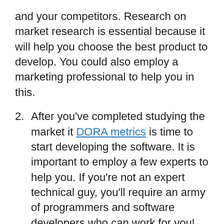and your competitors. Research on market research is essential because it will help you choose the best product to develop. You could also employ a marketing professional to help you in this.
After you've completed studying the market it DORA metrics is time to start developing the software. It is important to employ a few experts to help you. If you're not an expert technical guy, you'll require an army of programmers and software developers who can work for you!
During the phase of development when you are developing your business, you need to develop the marketing strategy and. You should